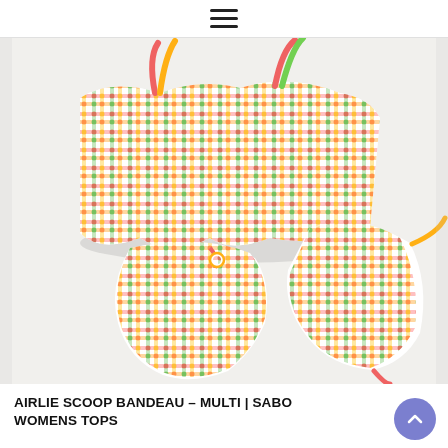≡
[Figure (photo): Product photo of a colorful multicolored gingham/check pattern bikini set (bandeau top and bottoms) laid flat on a white surface. The fabric has a textured bubble/smocked appearance with stripes of red, orange, yellow, green, blue, and pink forming a plaid check pattern.]
AIRLIE SCOOP BANDEAU – MULTI | SABO WOMENS TOPS